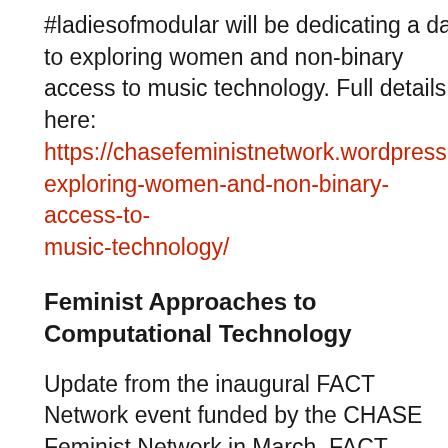#ladiesofmodular will be dedicating a day to exploring women and non-binary access to music technology. Full details here: https://chasefeministnetwork.wordpress.com/201...exploring-women-and-non-binary-access-to-music-technology/
Feminist Approaches to Computational Technology
Update from the inaugural FACT Network event funded by the CHASE Feminist Network in March. FACT, Feminist Approaches to Computational Technology, was born from a